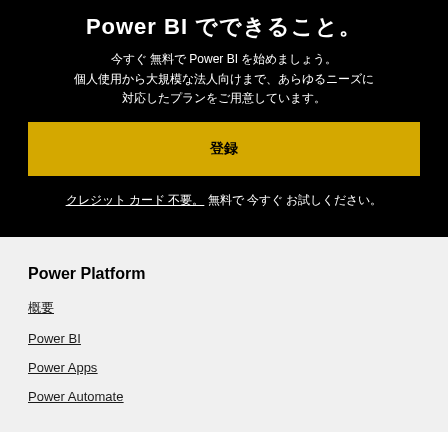Power BI でできること。
今すぐ 無料で Power BI を始めましょう。個人使用から大規模な法人向けまで、あらゆるニーズに対応したプランをご用意しています。
登録
クレジット カード 不要。 無料で 今すぐ お試しください。
Power Platform
概要
Power BI
Power Apps
Power Automate